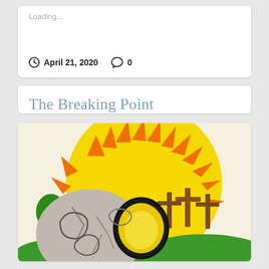Loading...
April 21, 2020   0
The Breaking Point
[Figure (illustration): Child's crayon/marker drawing of an Easter scene: a large yellow sun with orange spiky rays fills the background. In the foreground is a large stone tomb with a round boulder rolled away, revealing an opening with yellow light inside. To the right are three brown crosses on a green hill. A small green tree is visible on the left.]